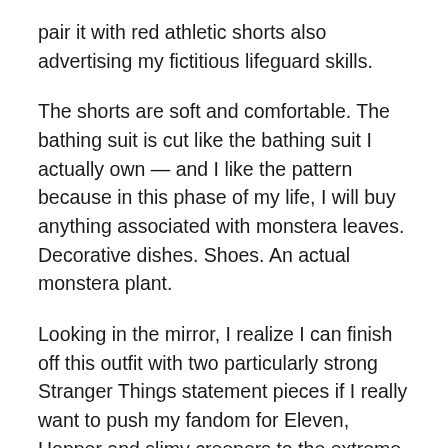pair it with red athletic shorts also advertising my fictitious lifeguard skills.
The shorts are soft and comfortable. The bathing suit is cut like the bathing suit I actually own — and I like the pattern because in this phase of my life, I will buy anything associated with monstera leaves. Decorative dishes. Shoes. An actual monstera plant.
Looking in the mirror, I realize I can finish off this outfit with two particularly strong Stranger Things statement pieces if I really want to push my fandom for Eleven, Hopper and slimy creepers to the extreme. The line features a clear red visor and boxy, white foam sandals with the logo of the show on them. I imagine which character would be most likely to wear